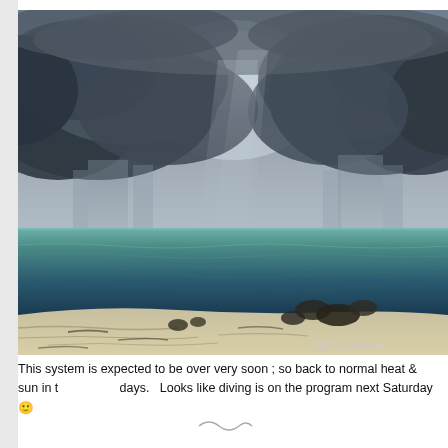[Figure (photo): A dramatic coastal scene showing a stormy sky with dark rain clouds and visible rain shafts falling over the ocean. The water transitions from teal near the horizon to dark near the shore. A sandy beach with scattered dark rocks is visible in the foreground. A small watermark reads 'http://cayman.m...' in the lower right corner.]
This system is expected to be over very soon ; so back to normal heat & sun in the coming days.   Looks like diving is on the program next Saturday 🙂